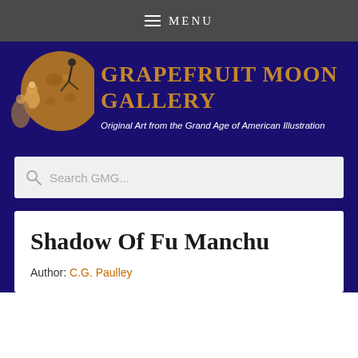MENU
[Figure (logo): Grapefruit Moon Gallery banner with circular moon image and art deco figures, gold text reading 'GRAPEFRUIT MOON GALLERY', subtitle 'Original Art from the Grand Age of American Illustration' on dark purple background]
Search GMG...
Shadow Of Fu Manchu
Author: C.G. Paulley